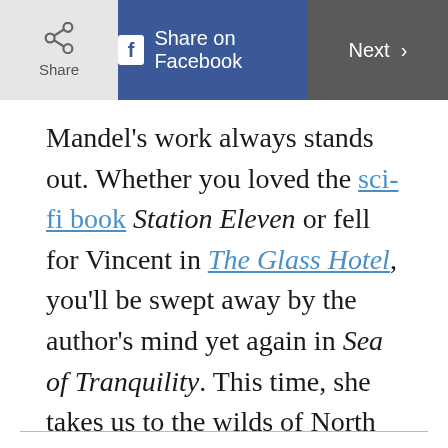Share | Share on Facebook | Next >
Mandel's work always stands out. Whether you loved the sci-fi book Station Eleven or fell for Vincent in The Glass Hotel, you'll be swept away by the author's mind yet again in Sea of Tranquility. This time, she takes us to the wilds of North American forests and the stark artificiality of a moon colony. It's a novel about human grit through literal space and time—a multidimensional, multi-timeline story for readers who like to sink their teeth into a good book.
Shop Now